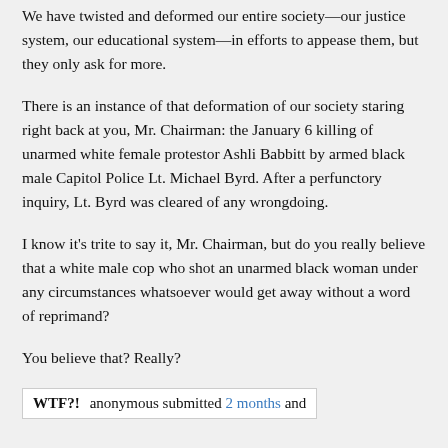We have twisted and deformed our entire society—our justice system, our educational system—in efforts to appease them, but they only ask for more.
There is an instance of that deformation of our society staring right back at you, Mr. Chairman: the January 6 killing of unarmed white female protestor Ashli Babbitt by armed black male Capitol Police Lt. Michael Byrd. After a perfunctory inquiry, Lt. Byrd was cleared of any wrongdoing.
I know it's trite to say it, Mr. Chairman, but do you really believe that a white male cop who shot an unarmed black woman under any circumstances whatsoever would get away without a word of reprimand?
You believe that? Really?
WTF?! anonymous submitted 2 months and